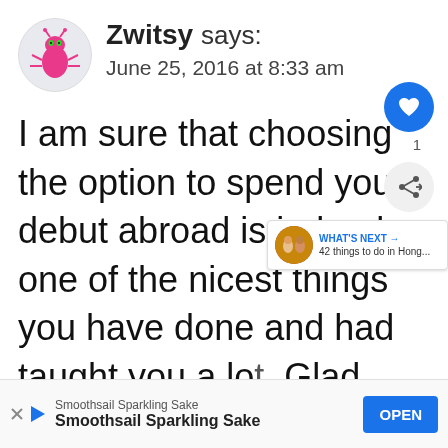[Figure (illustration): Pink cartoon ant/bug avatar inside a light circular background]
Zwitsy says:
June 25, 2016 at 8:33 am
I am sure that choosing the option to spend your debut abroad is indeed one of the nicest things you have done and had taught you a lot. Glad that you have learned so many things on your second visit in HK! Nothing is much cooler to travel a...dered h...
Smoothsail Sparkling Sake
Smoothsail Sparkling Sake
OPEN